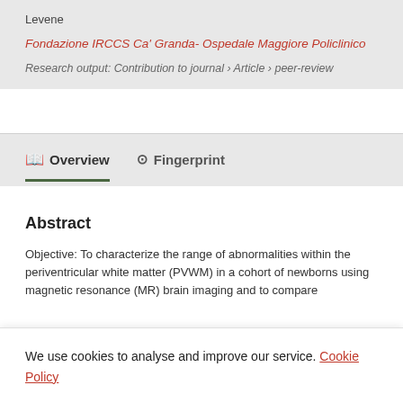Levene
Fondazione IRCCS Ca' Granda- Ospedale Maggiore Policlinico
Research output: Contribution to journal › Article › peer-review
Overview
Fingerprint
Abstract
Objective: To characterize the range of abnormalities within the periventricular white matter (PVWM) in a cohort of newborns using magnetic resonance (MR) brain imaging and to compare
We use cookies to analyse and improve our service. Cookie Policy